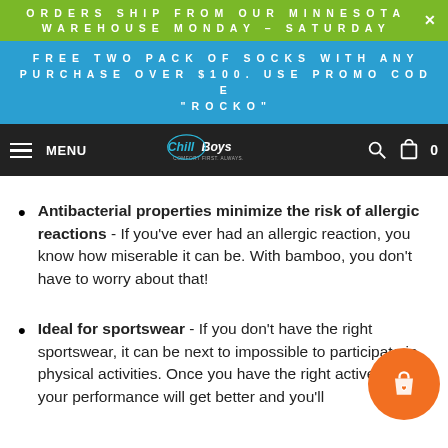ORDERS SHIP FROM OUR MINNESOTA WAREHOUSE MONDAY - SATURDAY
FREE TWO PACK OF SOCKS WITH ANY PURCHASE OVER $100. USE PROMO CODE "ROCKO"
MENU | Chill Boys | (search icon) | (cart) 0
Antibacterial properties minimize the risk of allergic reactions - If you've ever had an allergic reaction, you know how miserable it can be. With bamboo, you don't have to worry about that!
Ideal for sportswear - If you don't have the right sportswear, it can be next to impossible to participate in physical activities. Once you have the right activewear your performance will get better and you'll